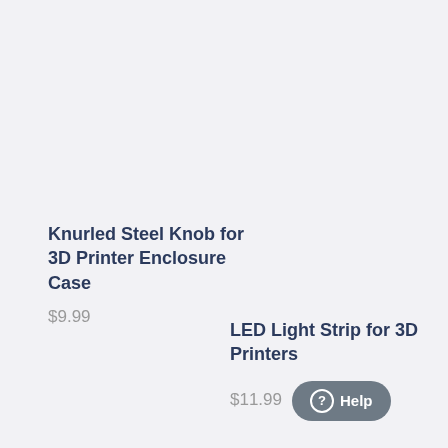Knurled Steel Knob for 3D Printer Enclosure Case
$9.99
LED Light Strip for 3D Printers
$11.99
Help